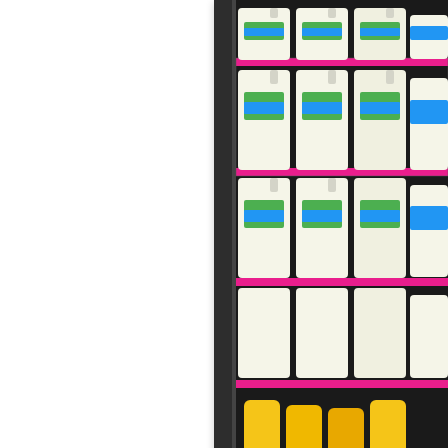[Figure (photo): Refrigerator shelves stocked with large white plastic milk jugs with colorful labels, arranged on pink-trimmed wire shelves in a commercial dairy cooler. Photo is cropped showing the right portion.]
How's anybody supposed
[Figure (photo): Close-up of a white sign with large bold dark red/maroon text reading 'IF DOOR' on first line and 'NOT O' on second line (text continues off-frame). Sign appears to be mounted on a concrete or stone surface.]